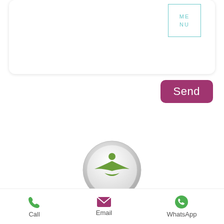[Figure (screenshot): White rounded card with a MENU button in teal outline style in the top right]
[Figure (other): Pink/maroon rounded Send button]
[Figure (logo): Circular logo for the Funeral Celebrant Accord — silver/grey circle with green plant/person figure motif]
The Funeral Celebrant Accord defines the attributes and skills required of an excellent funeral celebrant and is intended to set the standards by which all celebrants offering funeral services should be measured.
Call  Email  WhatsApp